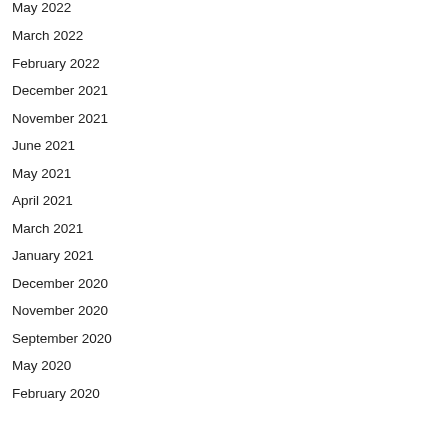May 2022
March 2022
February 2022
December 2021
November 2021
June 2021
May 2021
April 2021
March 2021
January 2021
December 2020
November 2020
September 2020
May 2020
February 2020